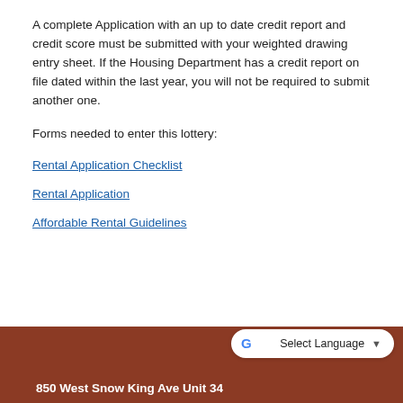A complete Application with an up to date credit report and credit score must be submitted with your weighted drawing entry sheet. If the Housing Department has a credit report on file dated within the last year, you will not be required to submit another one.
Forms needed to enter this lottery:
Rental Application Checklist
Rental Application
Affordable Rental Guidelines
850 West Snow King Ave Unit 34